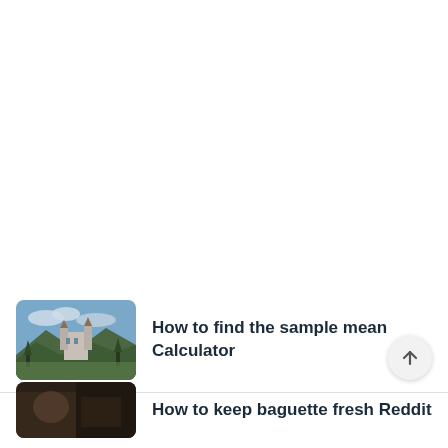[Figure (screenshot): Large white blank area at the top of the page, representing empty scroll space]
[Figure (photo): Thumbnail image of a castle (Neuschwanstein-like) on a hill with green forests and a valley in the background]
How to find the sample mean Calculator
[Figure (illustration): Scroll-to-top circular button with an upward arrow]
[Figure (photo): Thumbnail image partially visible at the bottom, appears to be a dark indoor/portrait scene]
How to keep baguette fresh Reddit